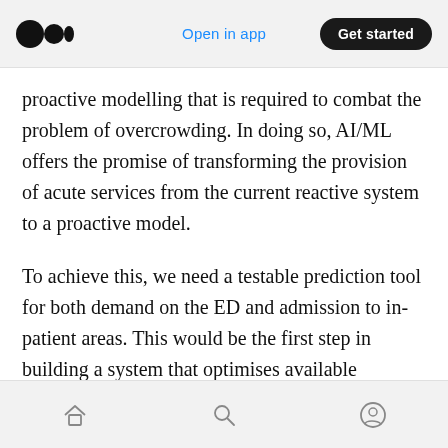Open in app | Get started
proactive modelling that is required to combat the problem of overcrowding. In doing so, AI/ML offers the promise of transforming the provision of acute services from the current reactive system to a proactive model.
To achieve this, we need a testable prediction tool for both demand on the ED and admission to in-patient areas. This would be the first step in building a system that optimises available resources to meet anticipated pressures with a consequent reduction in ED crowding and the harm this causes.
Home | Search | Profile